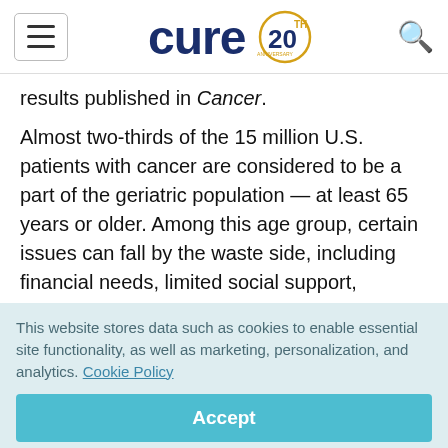cure 20th anniversary logo
results published in Cancer.
Almost two-thirds of the 15 million U.S. patients with cancer are considered to be a part of the geriatric population — at least 65 years or older. Among this age group, certain issues can fall by the waste side, including financial needs, limited social support,
This website stores data such as cookies to enable essential site functionality, as well as marketing, personalization, and analytics. Cookie Policy
Accept
Deny